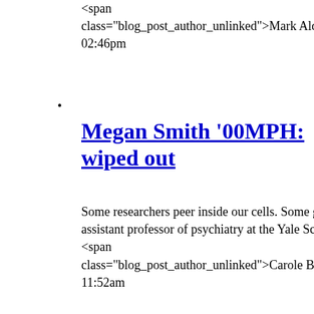<span class="blog_post_author_unlinked">Mark Alden Branch '86</span> | August 8 2013 02:46pm
Megan Smith '00MPH: wiped out
Some researchers peer inside our cells. Some gaze at the galaxies. Megan Smith '00MPH, assistant professor of psychiatry at the Yale School of... Read on
<span class="blog_post_author_unlinked">Carole Bass '83, '97MSL</span> | August 1 2013 11:52am
October 200
September 2
August 2008
July 2008
June 2008
May 2008
April 2008
March 2008
February 20
Topics
Administrati
Admissions
Alumni
Arts & Cultu
Campus
Faculty & St
In Memoriam
Internationa
Money & Business